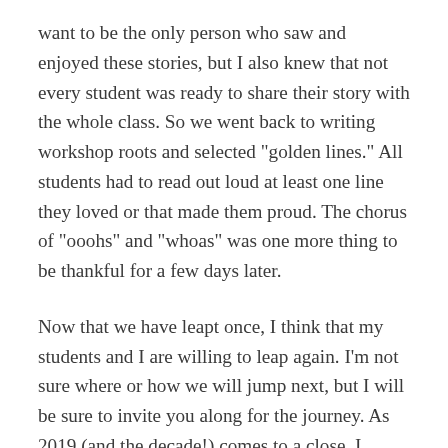want to be the only person who saw and enjoyed these stories, but I also knew that not every student was ready to share their story with the whole class. So we went back to writing workshop roots and selected "golden lines." All students had to read out loud at least one line they loved or that made them proud. The chorus of "ooohs" and "whoas" was one more thing to be thankful for a few days later.
Now that we have leapt once, I think that my students and I are willing to leap again. I'm not sure where or how we will jump next, but I will be sure to invite you along for the journey. As 2019 (and the decade!) comes to a close, I would just like to say thank you to you, dear readers, and to my colleagues at Moving Writers. This community challenges, inspires, and